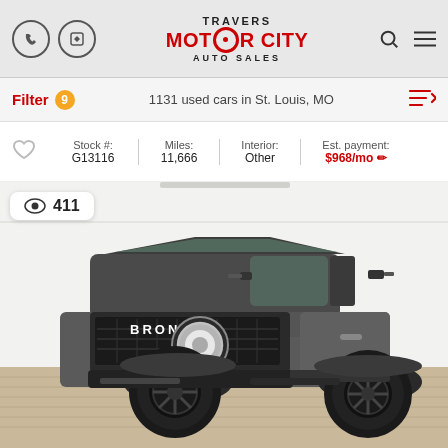TRAVERS MOTOR CITY AUTO SALES
Filter 9   1131 used cars in St. Louis, MO
Stock #: G13116 | Miles: 11,666 | Interior: Other | Est. payment: $968/mo
[Figure (photo): Gray Ford Bronco SUV parked indoors on wood-look flooring against white walls. The vehicle is a 2-door model with large off-road tires, black wheels, and BRONCO lettering on the grille. A view count badge showing 411 is overlaid in the top-left corner.]